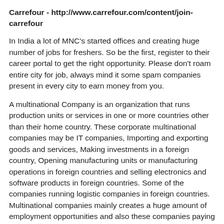Carrefour - http://www.carrefour.com/content/join-carrefour
In India a lot of MNC's started offices and creating huge number of jobs for freshers. So be the first, register to their career portal to get the right opportunity. Please don't roam entire city for job, always mind it some spam companies present in every city to earn money from you.
A multinational Company is an organization that runs production units or services in one or more countries other than their home country. These corporate multinational companies may be IT companies, Importing and exporting goods and services, Making investments in a foreign country, Opening manufacturing units or manufacturing operations in foreign countries and selling electronics and software products in foreign countries. Some of the companies running logistic companies in foreign countries. Multinational companies mainly creates a huge amount of employment opportunities and also these companies paying a lot tax to the foreign countries.